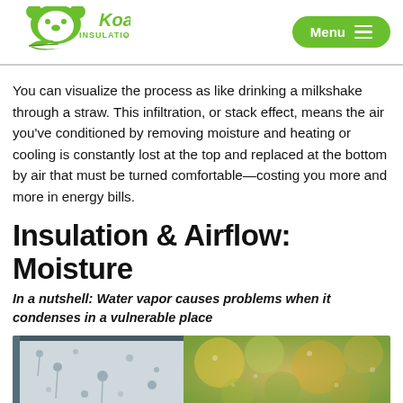[Figure (logo): Koala Insulation logo with green stylized koala and leaf shapes]
You can visualize the process as like drinking a milkshake through a straw. This infiltration, or stack effect, means the air you’ve conditioned by removing moisture and heating or cooling is constantly lost at the top and replaced at the bottom by air that must be turned comfortable—costing you more and more in energy bills.
Insulation & Airflow: Moisture
In a nutshell: Water vapor causes problems when it condenses in a vulnerable place
[Figure (photo): Two photos side by side: left shows condensation on a window pane with water droplets; right shows blurred outdoor autumn foliage with water droplets or rain]